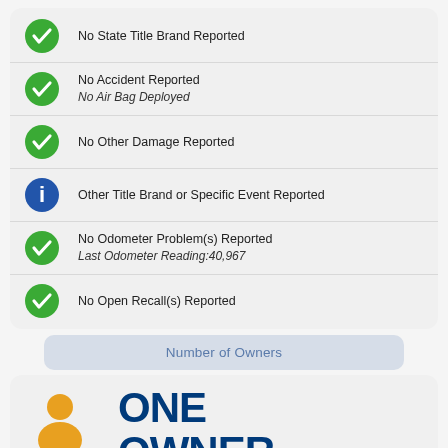No State Title Brand Reported
No Accident Reported
No Air Bag Deployed
No Other Damage Reported
Other Title Brand or Specific Event Reported
No Odometer Problem(s) Reported
Last Odometer Reading:40,967
No Open Recall(s) Reported
Number of Owners
[Figure (logo): One Owner badge with person icon and ONE OWNER text in dark blue]